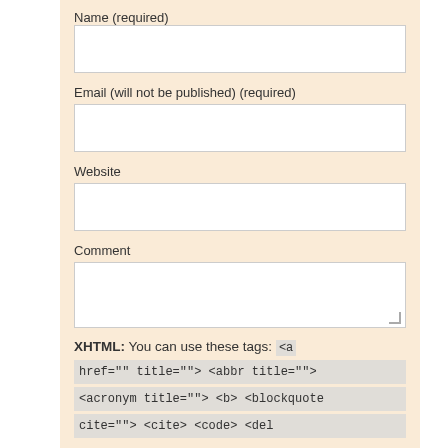Name (required)
Email (will not be published) (required)
Website
Comment
XHTML: You can use these tags: <a href="" title=""> <abbr title=""> <acronym title=""> <b> <blockquote cite=""> <cite> <code> <del